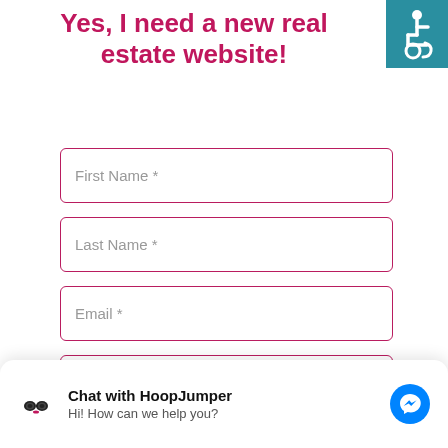Yes, I need a new real estate website!
[Figure (other): Accessibility (wheelchair) icon on teal/blue-green background in top right corner]
First Name *
Last Name *
Email *
Phone *
MLS Board
Chat with HoopJumper
Hi! How can we help you?